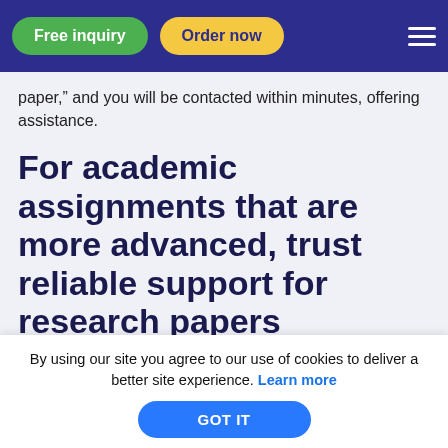Free inquiry | Order now
paper,” and you will be contacted within minutes, offering assistance.
For academic assignments that are more advanced, trust reliable support for research papers
You don’t need to look on the internet Buy Research paper Online Columbus, Ohio for reliable services. We can provide you with the most professional writing assistance. From
By using our site you agree to our use of cookies to deliver a better site experience. Learn more